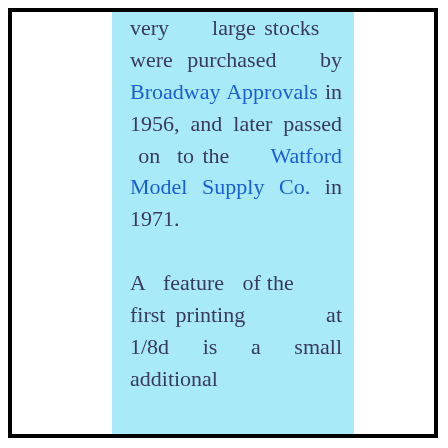very large stocks were purchased by Broadway Approvals in 1956, and later passed on to the Watford Model Supply Co. in 1971.

A feature of the first printing at 1/8d is a small additional